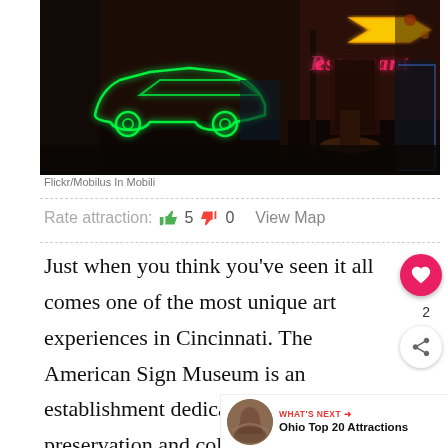[Figure (photo): Interior of the American Sign Museum in Cincinnati, showing a green neon car outline, pink neon 'Restaurant' sign, yellow arrow sign, and colorful neon displays in a dark setting.]
Flickr/Mobilus In Mobili
Rate attraction:  5   0   View Map
Just when you think you've seen it all comes one of the most unique art experiences in Cincinnati. The American Sign Museum is an establishment dedicated to the preservation and collection of signs. Old, new, electric, restaurants, shopping, hotels, big, small, and everything in between can be found here.